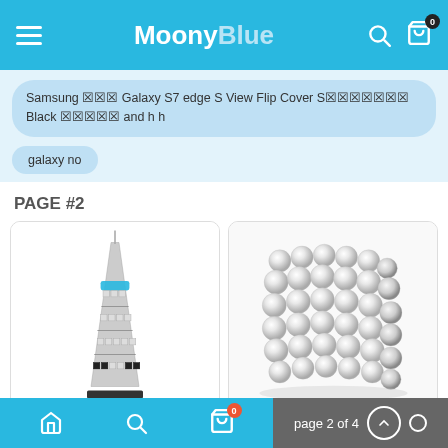MoonyBlue
Samsung 🔲🔲🔲 Galaxy S7 edge S View Flip Cover S🔲🔲🔲🔲🔲🔲🔲 Black 🔲🔲🔲🔲🔲 and h h
galaxy no
PAGE #2
[Figure (photo): Loz Nano Block tower model resembling Eiffel Tower, built with small blocks, blue and silver colors]
Loz Nano Block
[Figure (photo): NeoCube Silver Magnetic balls arranged in a cube shape, shiny metallic spheres]
NeoCube Silver Magnetic
page 2 of 4